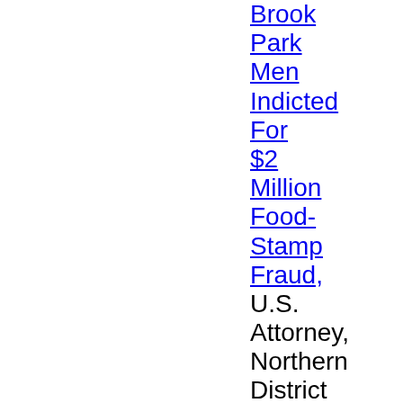Brook Park Men Indicted For $2 Million Food-Stamp Fraud, U.S. Attorney, Northern District of Ohio, 7-30-13
Arizona Man Pleads Guilty In Connection